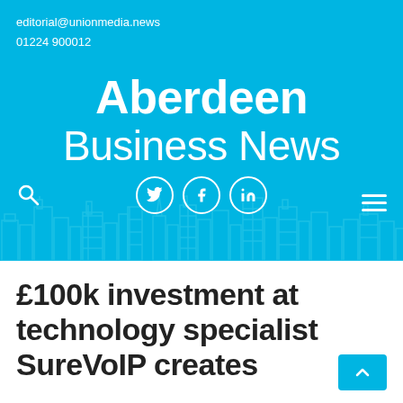editorial@unionmedia.news
01224 900012
Aberdeen Business News
[Figure (logo): Aberdeen Business News website header with skyline illustration, social media icons (Twitter, Facebook, LinkedIn), search icon, and hamburger menu icon on a cyan/blue background]
£100k investment at technology specialist SureVoIP creates